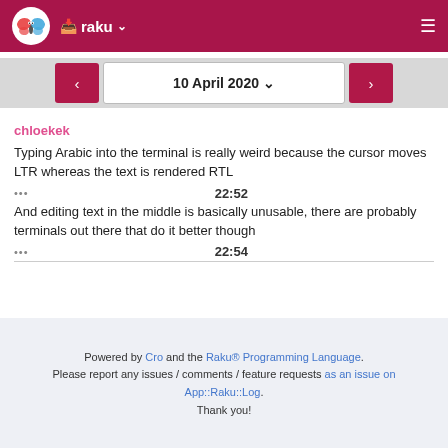raku
10 April 2020
chloekek
Typing Arabic into the terminal is really weird because the cursor moves LTR whereas the text is rendered RTL
••• 22:52
And editing text in the middle is basically unusable, there are probably terminals out there that do it better though
••• 22:54
Powered by Cro and the Raku® Programming Language. Please report any issues / comments / feature requests as an issue on App::Raku::Log. Thank you!